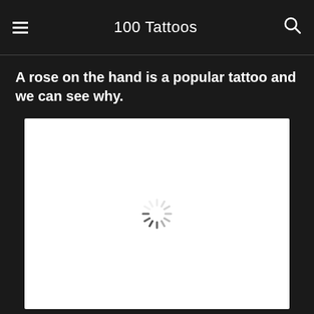100 Tattoos
A rose on the hand is a popular tattoo and we can see why.
[Figure (photo): Loading placeholder for a tattoo image — white rectangle with a spinning loading indicator in the center]